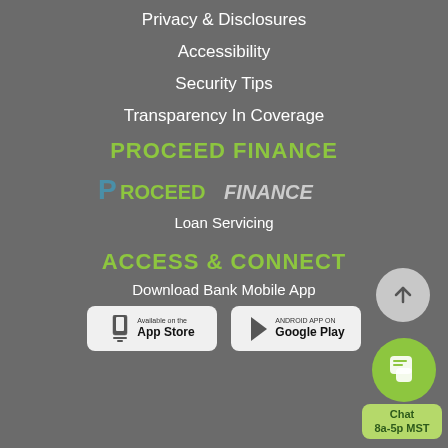Privacy & Disclosures
Accessibility
Security Tips
Transparency In Coverage
PROCEED FINANCE
[Figure (logo): Proceed Finance logo with stylized P in blue-green and PROCEEDFINANCE in green/grey italic]
Loan Servicing
ACCESS & CONNECT
Download Bank Mobile App
[Figure (other): Available on the App Store badge]
[Figure (other): Android app on Google Play badge]
[Figure (other): Scroll to top button - grey circle with upward arrow]
[Figure (other): Chat button - green circle with chat icon]
Chat
8a-5p MST